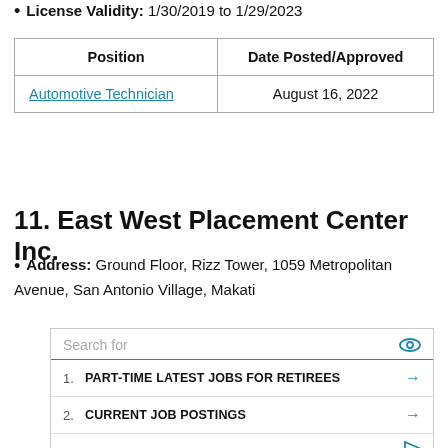License Validity: 1/30/2019 to 1/29/2023
| Position | Date Posted/Approved |
| --- | --- |
| Automotive Technician | August 16, 2022 |
11. East West Placement Center Inc.
Address: Ground Floor, Rizz Tower, 1059 Metropolitan Avenue, San Antonio Village, Makati
[Figure (screenshot): Search advertisement box with search field, two numbered list items: 1. PART-TIME LATEST JOBS FOR RETIREES, 2. CURRENT JOB POSTINGS, with arrow icons and eye/play icons.]